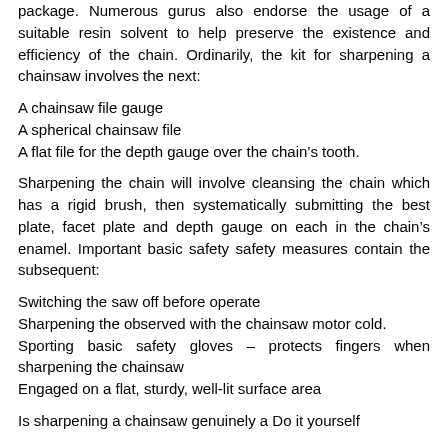package. Numerous gurus also endorse the usage of a suitable resin solvent to help preserve the existence and efficiency of the chain. Ordinarily, the kit for sharpening a chainsaw involves the next:
A chainsaw file gauge
A spherical chainsaw file
A flat file for the depth gauge over the chain’s tooth.
Sharpening the chain will involve cleansing the chain which has a rigid brush, then systematically submitting the best plate, facet plate and depth gauge on each in the chain’s enamel. Important basic safety safety measures contain the subsequent:
Switching the saw off before operate
Sharpening the observed with the chainsaw motor cold.
Sporting basic safety gloves – protects fingers when sharpening the chainsaw
Engaged on a flat, sturdy, well-lit surface area
Is sharpening a chainsaw genuinely a Do it yourself